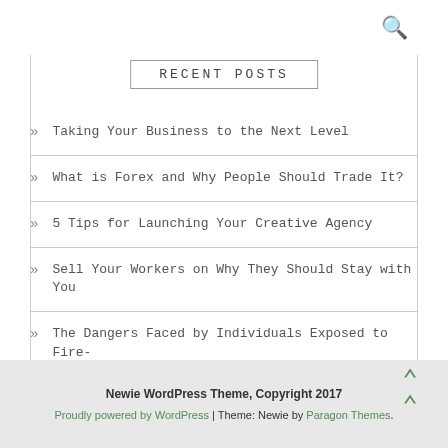RECENT POSTS
Taking Your Business to the Next Level
What is Forex and Why People Should Trade It?
5 Tips for Launching Your Creative Agency
Sell Your Workers on Why They Should Stay with You
The Dangers Faced by Individuals Exposed to Fire-fighting Foam – AFFF
Newie WordPress Theme, Copyright 2017
Proudly powered by WordPress | Theme: Newie by Paragon Themes.